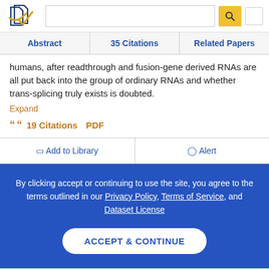[Figure (logo): Semantic Scholar logo — stylized book pages icon in navy and gold with a checkmark]
Abstract | 35 Citations | Related Papers
humans, after readthrough and fusion-gene derived RNAs are all put back into the group of ordinary RNAs and whether trans-splicing truly exists is doubted.
Expand
19 Citations   PDF
Add to Library   Alert
By clicking accept or continuing to use the site, you agree to the terms outlined in our Privacy Policy, Terms of Service, and Dataset License
ACCEPT & CONTINUE